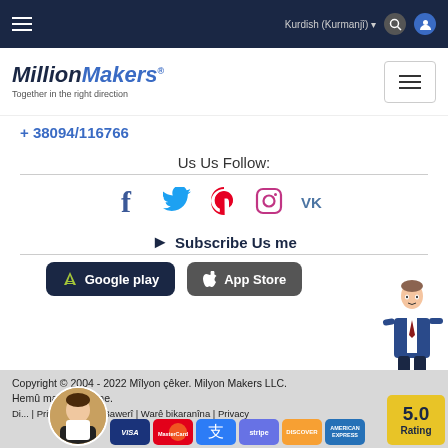Kurdish (Kurmanjî) ▾ [search] [user]
[Figure (logo): MillionMakers logo with tagline 'Together in the right direction']
+ 38094/116766
Us Us Follow:
[Figure (infographic): Social media icons: Facebook, Twitter, Pinterest, Instagram, VK]
Subscribe Us me
[Figure (infographic): Google Play and App Store download buttons]
Copyright © 2004 - 2022 Mîlyon çêker. Milyon Makers LLC. Hemû maf parastî ne.
Di... | Privacy Policy | Bawerî | Warê bikaranîna | Privacy
[Figure (infographic): Payment method badges: VISA, MasterCard, Alipay, Stripe, Discover, American Express]
[Figure (other): Rating badge showing 5.0 Rating]